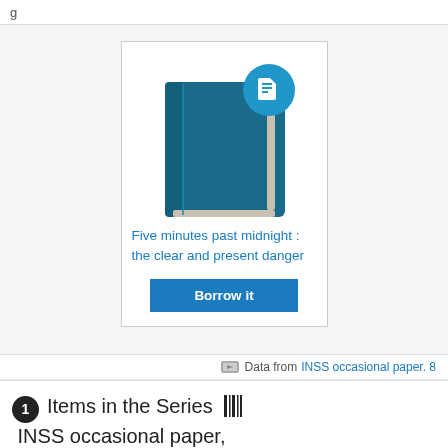g
[Figure (illustration): Book card showing a teal/dark blue book icon with a circular badge icon (book/document icon in blue circle) in the top right. Below the book image is a title link and a 'Borrow it' button.]
Five minutes past midnight : the clear and present danger
Borrow it
Data from INSS occasional paper. 8
1 Items in the Series ||| INSS occasional paper, 9